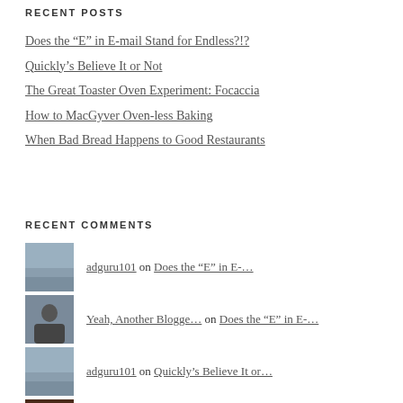RECENT POSTS
Does the “E” in E-mail Stand for Endless?!?
Quickly’s Believe It or Not
The Great Toaster Oven Experiment: Focaccia
How to MacGyver Oven-less Baking
When Bad Bread Happens to Good Restaurants
RECENT COMMENTS
adguru101 on Does the “E” in E-…
Yeah, Another Blogge… on Does the “E” in E-…
adguru101 on Quickly’s Believe It or…
snakesinthegrass2014 on Quickly’s Believe It or…